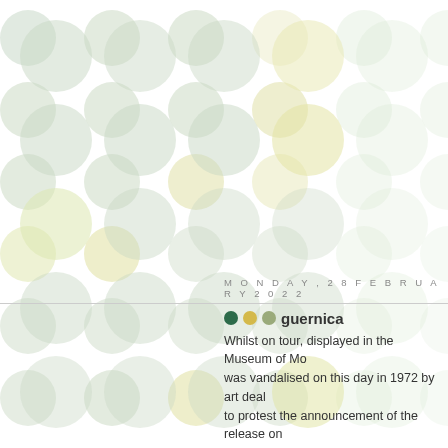[Figure (illustration): Decorative background pattern of large soft circles/dots in muted sage green and pale yellow tones arranged in a grid pattern across the page, with some circles clipped at the edges.]
MONDAY, 28 FEBRUARY 2022
guernica
Whilst on tour, displayed in the Museum of Mo... was vandalised on this day in 1972 by art deal... to protest the announcement of the release on...